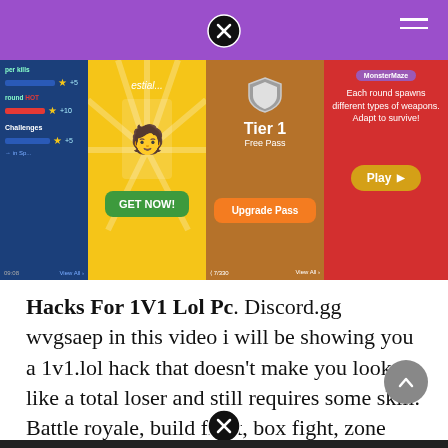[Figure (screenshot): Screenshot of a mobile game (1v1.lol) showing four panels: a blue game menu panel with challenges, a yellow panel with a character and Get Now button, a brown panel showing Tier 1 Free Pass with Upgrade Pass button, and a red panel about a mode where each round spawns different types of weapons with a Play button.]
Hacks For 1V1 Lol Pc. Discord.gg wvgsaep in this video i will be showing you a 1v1.lol hack that doesn't make you look like a total loser and still requires some skill. Battle royale, build fight, box fight, zone wars and more game modes to enjoy!1v1 lol hack mod menu aimbot speed jump hack new.